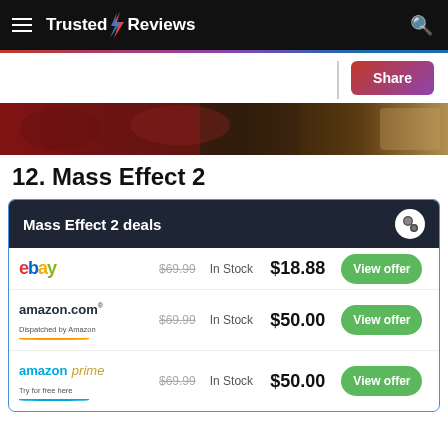Trusted Reviews
[Figure (screenshot): Game screenshot banner showing dark sci-fi scene from Mass Effect 2]
12. Mass Effect 2
| Retailer | Original Price | Stock | Price | Action |
| --- | --- | --- | --- | --- |
| ebay | $69.99 | In Stock | $18.88 | View offer |
| amazon.com Dispatched by Amazon | $69.99 | In Stock | $50.00 | View offer |
| amazon prime Try for free here | $69.99 | In Stock | $50.00 | View offer |